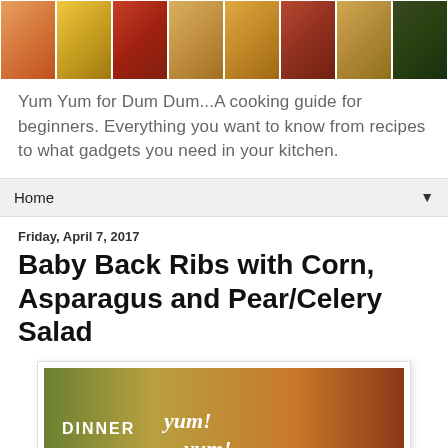[Figure (photo): Mosaic header image showing various food dishes in a grid of photo tiles]
Yum Yum for Dum Dum...A cooking guide for beginners. Everything you want to know from recipes to what gadgets you need in your kitchen.
Home ▼
Friday, April 7, 2017
Baby Back Ribs with Corn, Asparagus and Pear/Celery Salad
[Figure (photo): Photo of dinner with corn, asparagus, and baby back ribs with text DINNER yum! yum! overlaid]
My granddaughter Cristen loves some Baby Back Ribs, so I picked up some Kansas City ribs at the local grocery store. They were already wrapped in  the famous Kansas City tomato molasses based sauce, so I only added some garlic